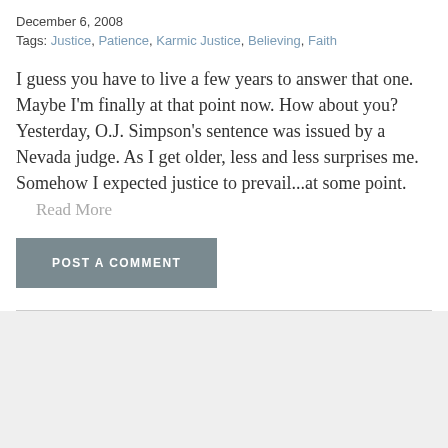December 6, 2008
Tags: Justice, Patience, Karmic Justice, Believing, Faith
I guess you have to live a few years to answer that one. Maybe I'm finally at that point now. How about you? Yesterday, O.J. Simpson's sentence was issued by a Nevada judge. As I get older, less and less surprises me. Somehow I expected justice to prevail...at some point.
Read More
POST A COMMENT